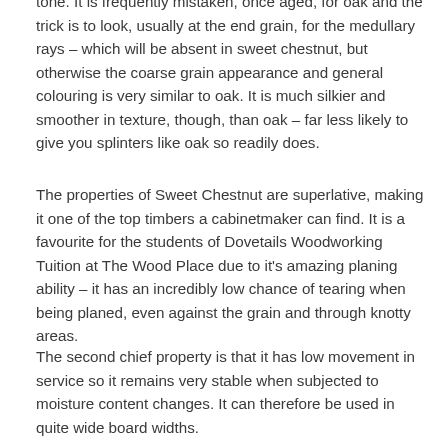tone.  It is frequently mistaken, once aged,  for oak and the trick is to look, usually at the end grain, for the medullary rays – which will be absent in sweet chestnut, but otherwise the coarse grain appearance and general colouring is very similar to oak. It is much silkier and smoother in texture, though, than oak – far less likely to give you splinters like oak so readily does.
The properties of Sweet Chestnut are superlative, making it one of the top timbers a cabinetmaker can find.  It is a favourite for the students of Dovetails Woodworking Tuition at The Wood Place due to it's amazing planing ability – it has an incredibly low chance of tearing when being planed,  even against the grain and through knotty areas.
The second chief property is that it has low movement in service so it remains very stable when subjected to moisture content changes.  It can therefore be used in quite wide board widths.